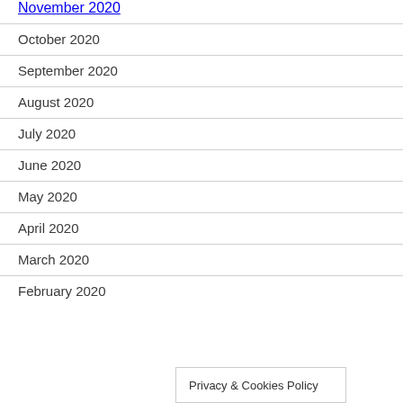November 2020
October 2020
September 2020
August 2020
July 2020
June 2020
May 2020
April 2020
March 2020
February 2020
Privacy & Cookies Policy